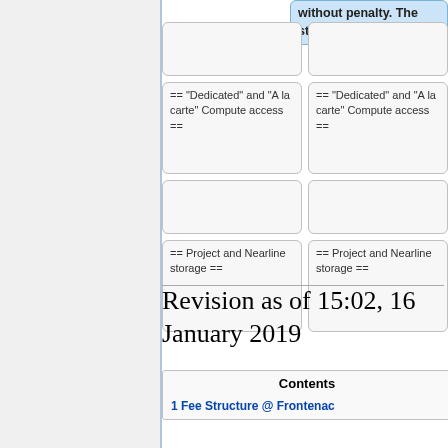without penalty. The standard units are :
== "Dedicated" and "A la carte" Compute access ==
== "Dedicated" and "A la carte" Compute access ==
== Project and Nearline storage ==
== Project and Nearline storage ==
Revision as of 15:02, 16 January 2019
Contents
1 Fee Structure @ Frontenac